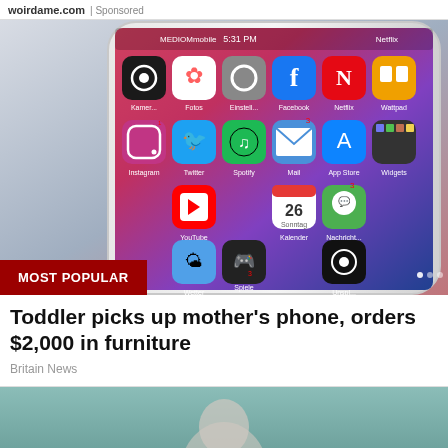woirdame.com | Sponsored
[Figure (photo): A smartphone (iPhone) showing home screen with various app icons including Instagram, YouTube, Twitter, Spotify, Facebook, Netflix, App Store, and others. A red MOST POPULAR badge is overlaid at the bottom left of the image.]
Toddler picks up mother's phone, orders $2,000 in furniture
Britain News
[Figure (photo): Partial image at bottom showing a person's head against a teal/green background, cropped.]